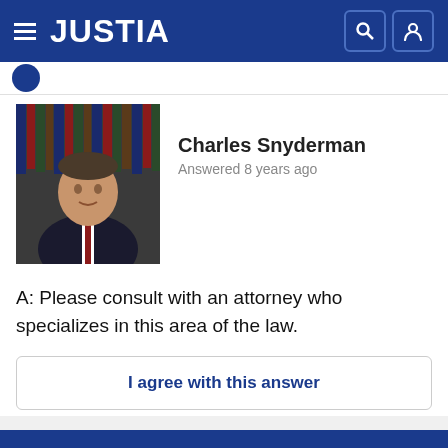JUSTIA
[Figure (photo): Headshot of Charles Snyderman, attorney, wearing dark suit and red tie, with law books in background]
Charles Snyderman
Answered 8 years ago
A: Please consult with an attorney who specializes in this area of the law.
I agree with this answer
🏴 Report